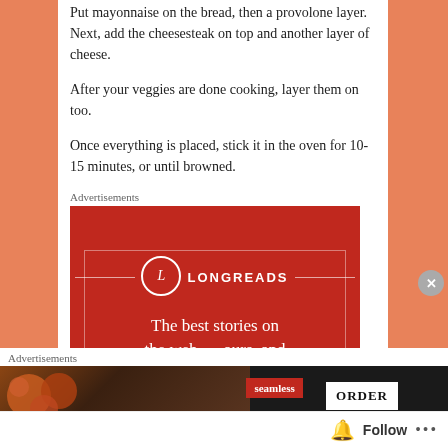Put mayonnaise on the bread, then a provolone layer. Next, add the cheesesteak on top and another layer of cheese.
After your veggies are done cooking, layer them on too.
Once everything is placed, stick it in the oven for 10-15 minutes, or until browned.
Advertisements
[Figure (advertisement): Longreads advertisement: red background with Longreads logo and tagline 'The best stories on the web – ours, and everyone else's.']
Advertisements
[Figure (advertisement): Seamless food delivery advertisement with pizza image and ORDER button]
Follow ...